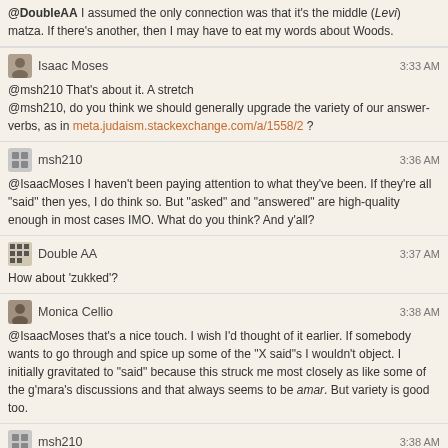@DoubleAA I assumed the only connection was that it's the middle ("Levi") matza. If there's another, then I may have to eat my words about Woods.
Isaac Moses  3:33 AM
@msh210 That's about it. A stretch
@msh210, do you think we should generally upgrade the variety of our answer-verbs, as in meta.judaism.stackexchange.com/a/1558/2 ?
msh210  3:36 AM
@IsaacMoses I haven't been paying attention to what they've been. If they're all "said" then yes, I do think so. But "asked" and "answered" are high-quality enough in most cases IMO. What do you think? And y'all?
Double AA  3:37 AM
How about 'zukked'?
Monica Cellio  3:38 AM
@IsaacMoses that's a nice touch. I wish I'd thought of it earlier. If somebody wants to go through and spice up some of the "X said"s I wouldn't object. I initially gravitated to "said" because this struck me most closely as like some of the g'mara's discussions and that always seems to be amar. But variety is good too.
msh210  3:38 AM
@DoubleAA : - ) entfert
Monica Cellio  3:39 AM
@msh210 I think we've been completely consistent about "asked", so we should probably leave those alone and focus on the responses.
msh210  3:39 AM